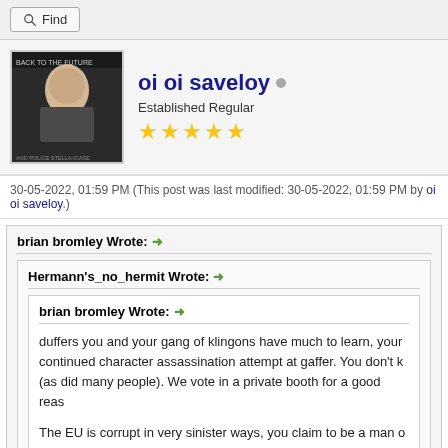Find
oi oi saveloy
Established Regular
30-05-2022, 01:59 PM (This post was last modified: 30-05-2022, 01:59 PM by oi oi saveloy.)
brian bromley Wrote: →
Hermann's_no_hermit Wrote: →
brian bromley Wrote: →
duffers you and your gang of klingons have much to learn, your continued character assassination attempt at gaffer. You don't k (as did many people). We vote in a private booth for a good reas

The EU is corrupt in very sinister ways, you claim to be a man o

Ever been to hungary? Seen the russian mafia that run the plac